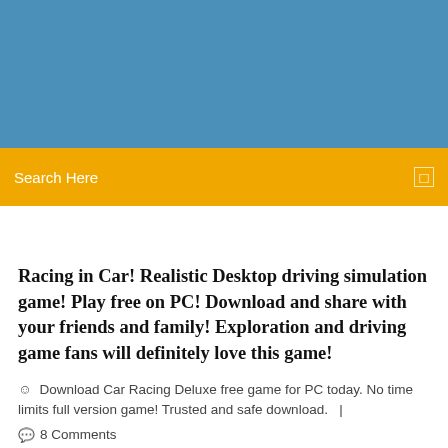[Figure (other): Blue banner/header area at top of webpage]
Search Here
Racing in Car! Realistic Desktop driving simulation game! Play free on PC! Download and share with your friends and family! Exploration and driving game fans will definitely love this game!
Download Car Racing Deluxe free game for PC today. No time limits full version game! Trusted and safe download.   |
8 Comments